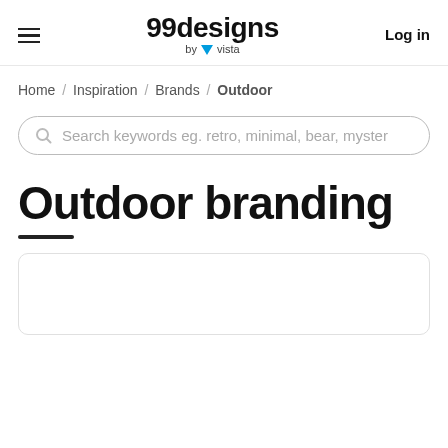99designs by vista  Log in
Home / Inspiration / Brands / Outdoor
Search keywords eg. retro, minimal, bear, myster
Outdoor branding
[Figure (other): Partially visible content card at the bottom of the page]